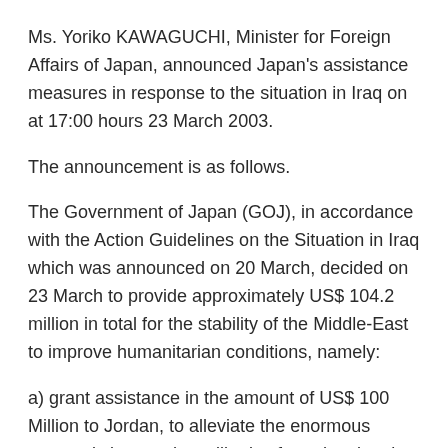Ms. Yoriko KAWAGUCHI, Minister for Foreign Affairs of Japan, announced Japan's assistance measures in response to the situation in Iraq on at 17:00 hours 23 March 2003.
The announcement is as follows.
The Government of Japan (GOJ), in accordance with the Action Guidelines on the Situation in Iraq which was announced on 20 March, decided on 23 March to provide approximately US$ 104.2 million in total for the stability of the Middle-East to improve humanitarian conditions, namely:
a) grant assistance in the amount of US$ 100 Million to Jordan, to alleviate the enormous economic impact that will arise from the situation in Iraq; and
b) food assistance in the amount of approximately US$ 4.2